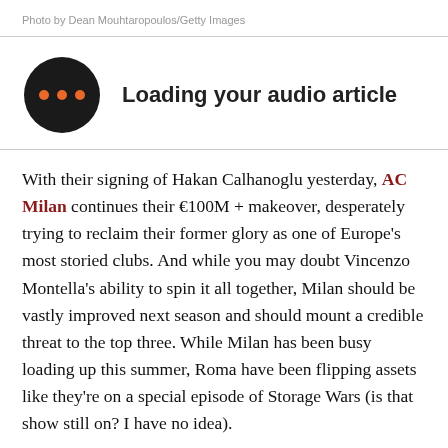Photo by Dean Mouhtaropoulos/Getty Images
[Figure (illustration): Audio article player icon: black circle with three orange dots, followed by bold text 'Loading your audio article']
With their signing of Hakan Calhanoglu yesterday, AC Milan continues their €100M + makeover, desperately trying to reclaim their former glory as one of Europe's most storied clubs. And while you may doubt Vincenzo Montella's ability to spin it all together, Milan should be vastly improved next season and should mount a credible threat to the top three. While Milan has been busy loading up this summer, Roma have been flipping assets like they're on a special episode of Storage Wars (is that show still on? I have no idea).